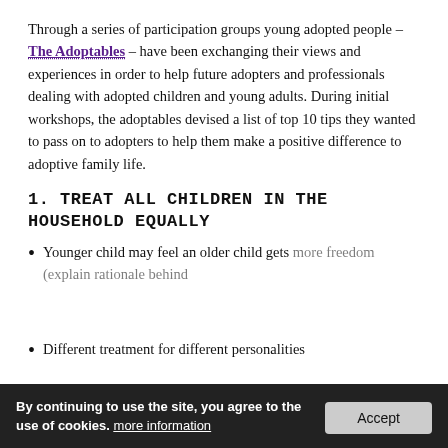Through a series of participation groups young adopted people – The Adoptables – have been exchanging their views and experiences in order to help future adopters and professionals dealing with adopted children and young adults. During initial workshops, the adoptables devised a list of top 10 tips they wanted to pass on to adopters to help them make a positive difference to adoptive family life.
1. TREAT ALL CHILDREN IN THE HOUSEHOLD EQUALLY
Younger child may feel an older child gets more freedom (explain rationale behind decisions)
Different treatment for different personalities (really not the same)
By continuing to use the site, you agree to the use of cookies. more information [Accept]